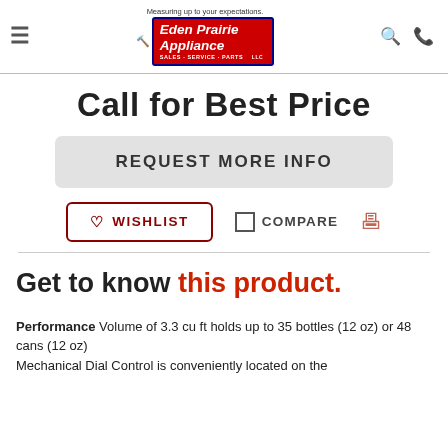[Figure (logo): Eden Prairie Appliance logo with tagline 'Measuring up to your expectations.' Red badge with white italic text, blue border, LLC]
Call for Best Price
REQUEST MORE INFO
WISHLIST
COMPARE
Get to know this product.
Performance
Volume of 3.3 cu ft holds up to 35 bottles (12 oz) or 48 cans (12 oz)
Mechanical Dial Control is conveniently located on the